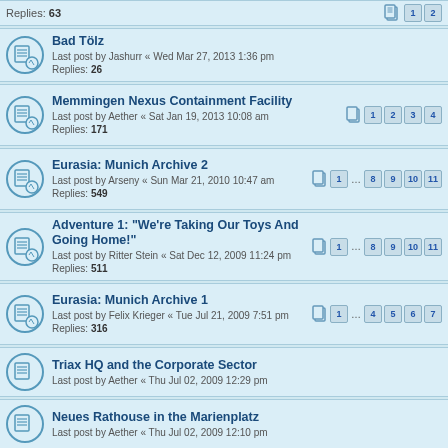Replies: 63 — pages 1 2
Bad Tölz — Last post by Jashurr « Wed Mar 27, 2013 1:36 pm — Replies: 26
Memmingen Nexus Containment Facility — Last post by Aether « Sat Jan 19, 2013 10:08 am — Replies: 171 — pages 1 2 3 4
Eurasia: Munich Archive 2 — Last post by Arseny « Sun Mar 21, 2010 10:47 am — Replies: 549 — pages 1 ... 8 9 10 11
Adventure 1: "We're Taking Our Toys And Going Home!" — Last post by Ritter Stein « Sat Dec 12, 2009 11:24 pm — Replies: 511 — pages 1 ... 8 9 10 11
Eurasia: Munich Archive 1 — Last post by Felix Krieger « Tue Jul 21, 2009 7:51 pm — Replies: 316 — pages 1 ... 4 5 6 7
Triax HQ and the Corporate Sector — Last post by Aether « Thu Jul 02, 2009 12:29 pm
Neues Rathouse in the Marienplatz — Last post by Aether « Thu Jul 02, 2009 12:10 pm
Ludwig-Maximilians-Universität München — Last post by Aether « Thu Jul 02, 2009 12:00 pm
Schwabing